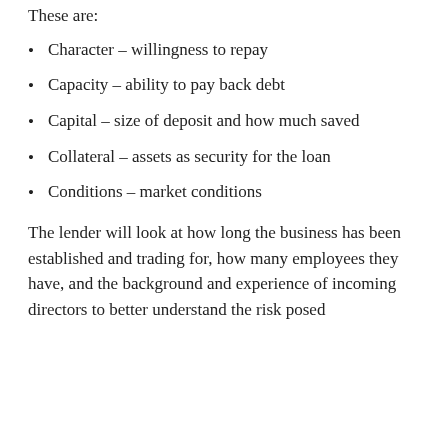These are:
Character – willingness to repay
Capacity – ability to pay back debt
Capital – size of deposit and how much saved
Collateral – assets as security for the loan
Conditions – market conditions
The lender will look at how long the business has been established and trading for, how many employees they have, and the background and experience of incoming directors to better understand the risk posed